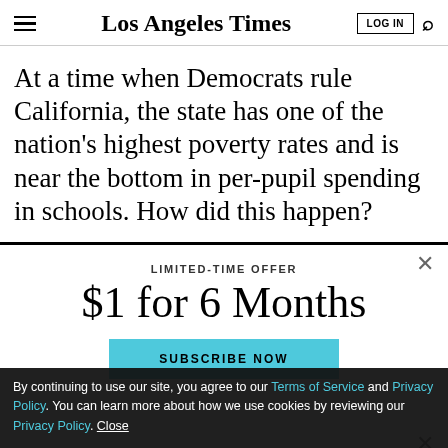Los Angeles Times
At a time when Democrats rule California, the state has one of the nation's highest poverty rates and is near the bottom in per-pupil spending in schools. How did this happen?
LIMITED-TIME OFFER
$1 for 6 Months
SUBSCRIBE NOW
By continuing to use our site, you agree to our Terms of Service and Privacy Policy. You can learn more about how we use cookies by reviewing our Privacy Policy. Close